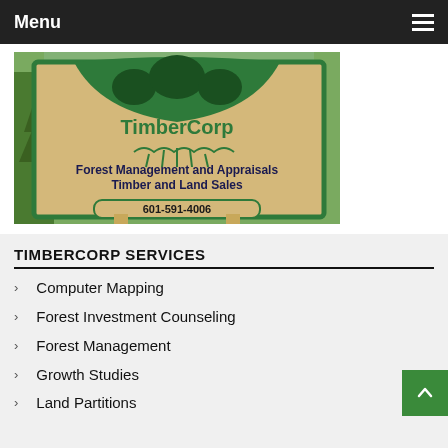Menu
[Figure (photo): TimberCorp sign reading 'Forest Management and Appraisals Timber and Land Sales 601-591-4006', set outdoors among pine trees]
TIMBERCORP SERVICES
Computer Mapping
Forest Investment Counseling
Forest Management
Growth Studies
Land Partitions